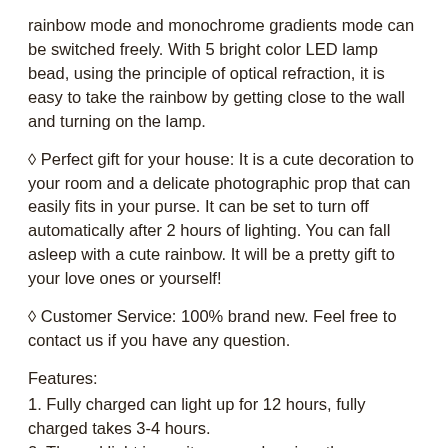rainbow mode and monochrome gradients mode can be switched freely. With 5 bright color LED lamp bead, using the principle of optical refraction, it is easy to take the rainbow by getting close to the wall and turning on the lamp.
◊ Perfect gift for your house: It is a cute decoration to your room and a delicate photographic prop that can easily fits in your purse. It can be set to turn off automatically after 2 hours of lighting. You can fall asleep with a cute rainbow. It will be a pretty gift to your love ones or yourself!
◊ Customer Service: 100% brand new. Feel free to contact us if you have any question.
Features:
1. Fully charged can light up for 12 hours, fully charged takes 3-4 hours.
2. The red light is on, it means charging, the green light is on, it means it is fully charged.
3. Built-in protection circuit can be connected to the power supply for a long time.
4. The A button has no timing function, and the rainbow function corresponding to the B button will automatically